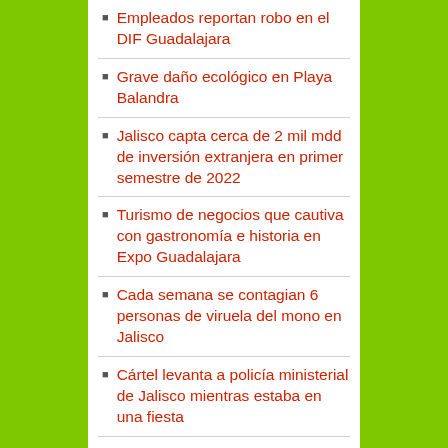Empleados reportan robo en el DIF Guadalajara
Grave daño ecológico en Playa Balandra
Jalisco capta cerca de 2 mil mdd de inversión extranjera en primer semestre de 2022
Turismo de negocios que cautiva con gastronomía e historia en Expo Guadalajara
Cada semana se contagian 6 personas de viruela del mono en Jalisco
Cártel levanta a policía ministerial de Jalisco mientras estaba en una fiesta
Confunden centro de entrega de Amazon con estacionamiento de camionetas Pick Up
“Calaverandia” regresa a Guadalajara con nueva sede
Divide intención de diputados de Jalisco de subirse el sueldo hasta 50%